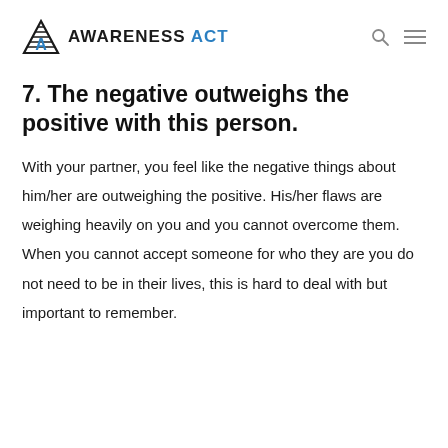AWARENESS ACT
7. The negative outweighs the positive with this person.
With your partner, you feel like the negative things about him/her are outweighing the positive. His/her flaws are weighing heavily on you and you cannot overcome them. When you cannot accept someone for who they are you do not need to be in their lives, this is hard to deal with but important to remember.